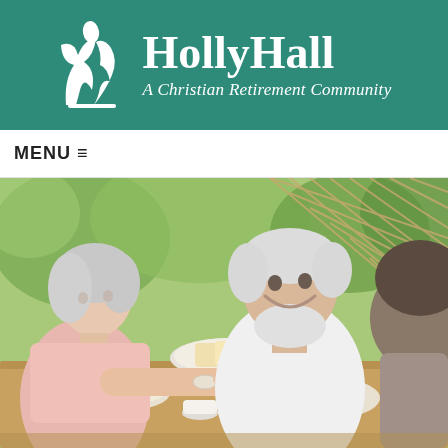[Figure (logo): Holly Hall logo: white silhouette icon of trees/figures on teal background, with text 'HollyHall' in large white serif font and tagline 'A Christian Retirement Community' in white italic serif font, all on a teal/green header bar]
MENU ≡
[Figure (photo): Outdoor photo of three elderly people sitting at a wooden table sharing a meal. An elderly woman in a pink polo shirt with white hair is handing a plate of bread to someone on the right. An elderly man in a white t-shirt with white hair and beard is smiling broadly. A third person is partially visible on the right. The table has plates of pastries, cookies, cups, and bread. Background shows green foliage and a wooden lattice fence.]